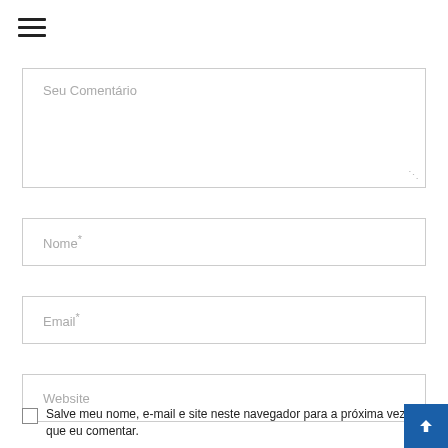[Figure (other): Hamburger menu icon (three horizontal lines)]
Seu Comentário
Nome*
Email*
Website
Salve meu nome, e-mail e site neste navegador para a próxima vez que eu comentar.
[Figure (other): Back to top button (blue square with upward chevron arrow)]